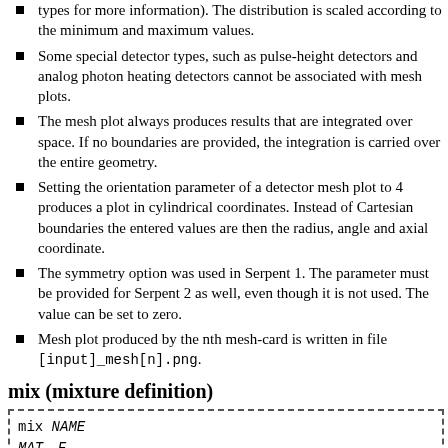types for more information). The distribution is scaled according to the minimum and maximum values.
Some special detector types, such as pulse-height detectors and analog photon heating detectors cannot be associated with mesh plots.
The mesh plot always produces results that are integrated over space. If no boundaries are provided, the integration is carried over the entire geometry.
Setting the orientation parameter of a detector mesh plot to 4 produces a plot in cylindrical coordinates. Instead of Cartesian boundaries the entered values are then the radius, angle and axial coordinate.
The symmetry option was used in Serpent 1. The parameter must be provided for Serpent 2 as well, even though it is not used. The value can be set to zero.
Mesh plot produced by the nth mesh-card is written in file [input]_mesh[n].png.
mix (mixture definition)
mix NAME
MAT1 F1
MAT2 F2
...